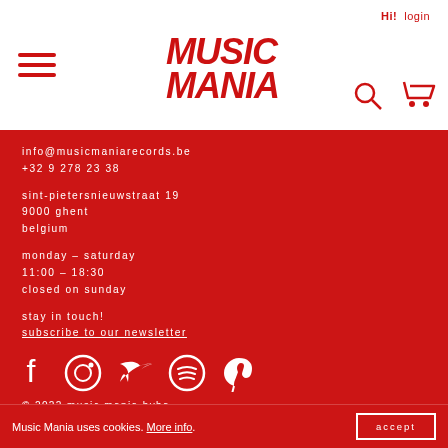[Figure (logo): Music Mania logo in red italic bold text]
info@musicmaniarecords.be
+32 9 278 23 38
sint-pietersnieuwstraat 19
9000 ghent
belgium
monday – saturday
11:00 – 18:30
closed on sunday
stay in touch!
subscribe to our newsletter
[Figure (other): Social media icons: Facebook, Instagram, Twitter, Spotify, Pinterest]
© 2022 music mania bvba
cookies & privacy
Music Mania uses cookies. More info.
accept